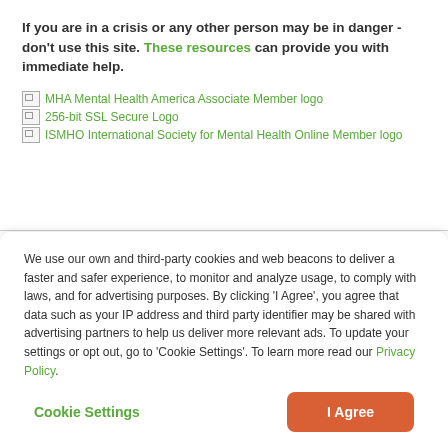If you are in a crisis or any other person may be in danger - don't use this site. These resources can provide you with immediate help.
[Figure (logo): MHA Mental Health America Associate Member logo (broken image placeholder)]
[Figure (logo): 256-bit SSL Secure Logo (broken image placeholder)]
[Figure (logo): ISMHO International Society for Mental Health Online Member logo (broken image placeholder)]
We use our own and third-party cookies and web beacons to deliver a faster and safer experience, to monitor and analyze usage, to comply with laws, and for advertising purposes. By clicking 'I Agree', you agree that data such as your IP address and third party identifier may be shared with advertising partners to help us deliver more relevant ads. To update your settings or opt out, go to 'Cookie Settings'. To learn more read our Privacy Policy.